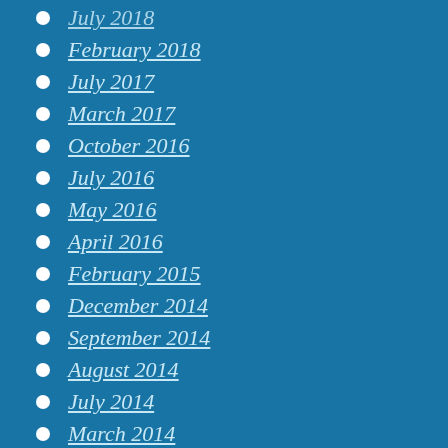July 2018
February 2018
July 2017
March 2017
October 2016
July 2016
May 2016
April 2016
February 2015
December 2014
September 2014
August 2014
July 2014
March 2014
February 2014
November 2013
October 2013